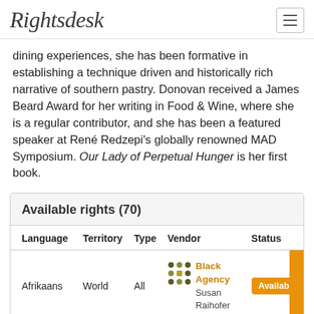Rightsdesk
dining experiences, she has been formative in establishing a technique driven and historically rich narrative of southern pastry. Donovan received a James Beard Award for her writing in Food & Wine, where she is a regular contributor, and she has been a featured speaker at René Redzepi's globally renowned MAD Symposium. Our Lady of Perpetual Hunger is her first book.
| Language | Territory | Type | Vendor | Status |
| --- | --- | --- | --- | --- |
| Afrikaans | World | All | Black Agency
Susan Raihofer | Available |
| Albanian | World | All | Black Agency | Available |